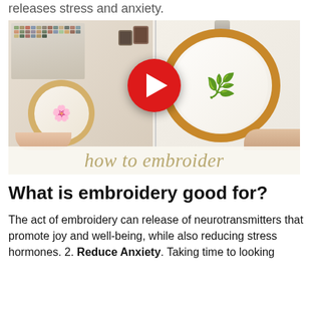releases stress and anxiety.
[Figure (photo): YouTube-style video thumbnail showing two embroidery hoops with floral designs and a thread organizer box, with a red play button overlay and 'how to embroider' text at the bottom.]
What is embroidery good for?
The act of embroidery can release of neurotransmitters that promote joy and well-being, while also reducing stress hormones. 2. Reduce Anxiety. Taking time to looking ato...